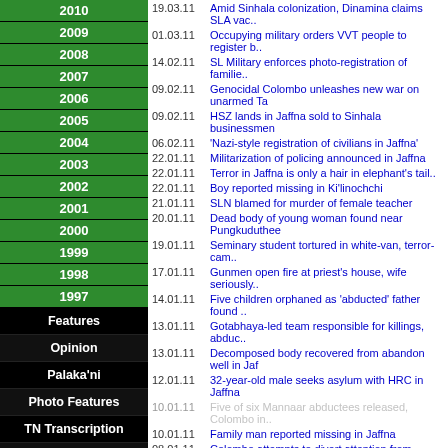2010
2009
2008
2007
2006
2005
2004
2003
2002
2001
2000
1999
1998
1997
Features
Opinion
Palaka'ni
Photo Features
TN Transcription
Web feeds
Feedback
Home
About us
| Date | Headline |
| --- | --- |
| 19.03.11 | Amid Sinhala colonization, Dinamina claims SLA vac.. |
| 01.03.11 | Occupying military orders VVT people to register b.. |
| 14.02.11 | SL Military enforces photo-registration of familie.. |
| 09.02.11 | Genocidal Colombo unleashes new war on unarmed Ta |
| 09.02.11 | HSZ lands in Jaffna sold to Sinhala businessmen |
| 06.02.11 | 'Nazi-style registration of civilians in Jaffna' |
| 22.01.11 | Militarization of policing announced in Jaffna |
| 22.01.11 | Terror in Jaffna is only a hair in elephant's tail.. |
| 22.01.11 | Boy reported missing in Ki'linochchi |
| 21.01.11 | SLN blamed for murder of female teacher |
| 20.01.11 | Dead body of young woman found near Pungkuduthee |
| 19.01.11 | Seminary student tortured in white-van, terror-cam.. |
| 17.01.11 | Gunmen open fire at priest's house, wife seriously.. |
| 14.01.11 | Five children orphaned as 'abducted' father found .. |
| 13.01.11 | Gotabhaya-led team responsible for killings, abduc.. |
| 13.01.11 | Decomposed body recovered from abandon well in Jaf |
| 12.01.11 | 32-year-old male seeks asylum with HRC in Jaffna |
| 10.01.11 | Five of six Mannaar abductees released, Colombo in.. |
| 10.01.11 | Family man reported missing in Jaffna |
| 08.01.11 | Colombo attempts to divert attention from increasi.. |
| 08.01.11 | Tamil student reported missing in Ampaa'rai |
| 08.01.11 | JDS condemns silence of Colombo media over terror .. |
| 07.01.11 | EPDP, SLA, confuse public, lottery-fraud arrested .. |
| 06.01.11 | Abductions shock Mannaar, relatives of victim conf.. |
| 05.01.11 | Father of five reported missing in Koappaay |
| 05.01.11 | SL judiciary, Police in Jaffna respond to stand of.. |
| 04.01.11 | Environment endangering life in Jaffna |
| 03.01.11 | Imelda accuses police, prefers military |
| 03.01.11 | Escalating killings, abductions: 'Diplomatic civil.. |
| 02.01.11 | Auto driver reported missing in Urumpiraay, Jaffna |
| 01.01.11 | Mobile phone saves 30 abductees in Vanni from bein.. |
| 01.01.11 | Killed Tamil youth of postal department was an env.. |
| 31.12.10 | Jaffna marred with killings, abductions on New Yea.. |
| 31.12.10 | Youth abducted in Jaffna Thursday is a teacher |
| 31.12.10 | Youth abducted, Sri Lanka colonial commander denie.. |
| 30.12.10 | Why Sri Lanka keeps Tamil areas insecure and unsta.. |
| 29.12.10 | Terror campaign in Jaffna: abducted youth tortured.. |
| 29.12.10 | Abducted vehicle dealer found dead in Jaffna |